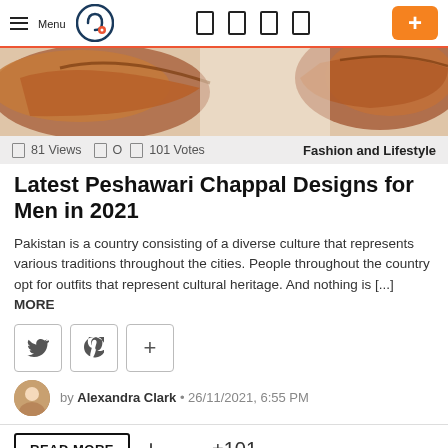Menu [logo] [nav icons] [+]
[Figure (photo): Brown leather Peshawari chappal sandals shown on white/light background, cropped hero image]
81 Views  0  101 Votes   Fashion and Lifestyle
Latest Peshawari Chappal Designs for Men in 2021
Pakistan is a country consisting of a diverse culture that represents various traditions throughout the cities. People throughout the country opt for outfits that represent cultural heritage. And nothing is [...] MORE
[Figure (other): Social share buttons: Twitter, Pinterest, plus]
by Alexandra Clark • 26/11/2021, 6:55 PM
READ MORE  +  —  +101